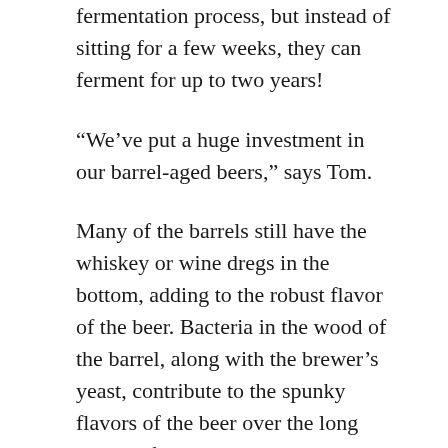fermentation process, but instead of sitting for a few weeks, they can ferment for up to two years!
“We’ve put a huge investment in our barrel-aged beers,” says Tom.
Many of the barrels still have the whiskey or wine dregs in the bottom, adding to the robust flavor of the beer. Bacteria in the wood of the barrel, along with the brewer’s yeast, contribute to the spunky flavors of the beer over the long period of time.
About 25 percent of all Diamondback beer goes straight to the taproom. The other 75 percent heads out to market. This year, Tom and company are looking at producing a total of about 2,000 barrels. As they continue to grow their brand and hone their craft,